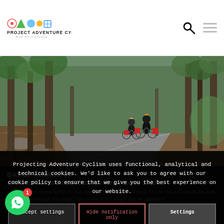PROJECT ADVENTURE CYCLING — Ride the Unrideable SINCE 2005
[Figure (photo): Two cyclists riding loaded touring bikes on a winding gravel/paved road through a forest of tall trees with exposed roots and green foliage.]
DAY 10 – STAGE 08
CAMERON-DESTACAMENTO BELLAVISTA – 100 km 1.900 m
We'll begin our crossing that for two days will take us to the Atlantic Ocean. We will ride all day east on dirt roads through the jungle. This is one of the stages that we approach
Projecting Adventure Cyclism uses functional, analytical and technical cookies. We'd like to ask you to agree with our cookie policy to ensure that we give you the best experience on our website.
Accept settings | Hide notification only | Settings